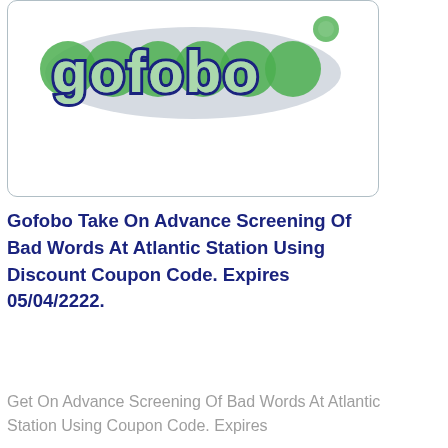[Figure (logo): Gofobo logo — green and dark navy bubbly text reading 'gofobo' with white fill inside letters and a green bubble/circle decoration]
Gofobo Take On Advance Screening Of Bad Words At Atlantic Station Using Discount Coupon Code. Expires 05/04/2222.
Get On Advance Screening Of Bad Words At Atlantic Station Using Coupon Code. Expires